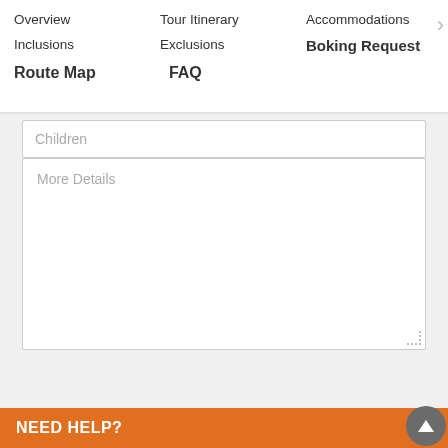Overview | Tour Itinerary | Accommodations | Inclusions | Exclusions | Boking Request | Route Map | FAQ
Children
More Details
submit
Popular Destination
View all Destination
NEED HELP?